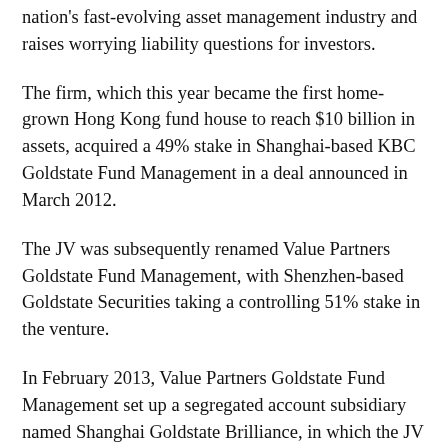nation's fast-evolving asset management industry and raises worrying liability questions for investors.
The firm, which this year became the first home-grown Hong Kong fund house to reach $10 billion in assets, acquired a 49% stake in Shanghai-based KBC Goldstate Fund Management in a deal announced in March 2012.
The JV was subsequently renamed Value Partners Goldstate Fund Management, with Shenzhen-based Goldstate Securities taking a controlling 51% stake in the venture.
In February 2013, Value Partners Goldstate Fund Management set up a segregated account subsidiary named Shanghai Goldstate Brilliance, in which the JV owns a 65.5% stake. The remaining 34.5% is held by a Shanghai financial advisory firm whose English name